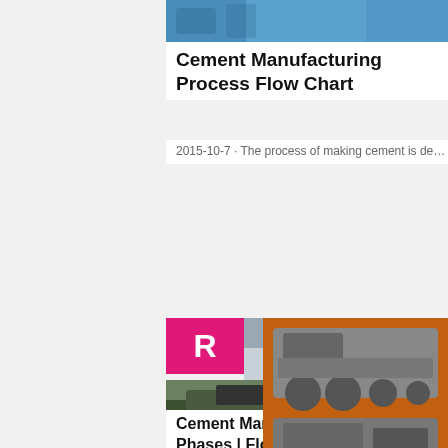[Figure (photo): Top portion of blue industrial/cement machinery photo]
Cement Manufacturing Process Flow Chart
2015-10-7 · The process of making cement is de…
[Figure (photo): Live chat overlay widget with woman in hard hat, LIVE CHAT text in red italic, 'Click for a Free Consultation', Chat now (red button) and Chat later (dark button) buttons]
[Figure (photo): Right sidebar orange advertisement showing mining machinery, Enjoy 3% discount, Click to Chat, Enquiry, limingjlmofen@sina.com]
[Figure (photo): Construction/mining machinery at work site with excavator]
Cement Manufacturing Process | Phases | Flow Chart ...